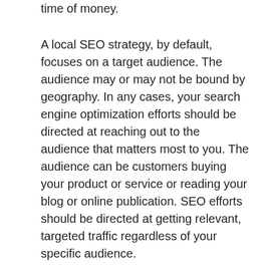time of money.
A local SEO strategy, by default, focuses on a target audience. The audience may or may not be bound by geography. In any cases, your search engine optimization efforts should be directed at reaching out to the audience that matters most to you. The audience can be customers buying your product or service or reading your blog or online publication. SEO efforts should be directed at getting relevant, targeted traffic regardless of your specific audience.